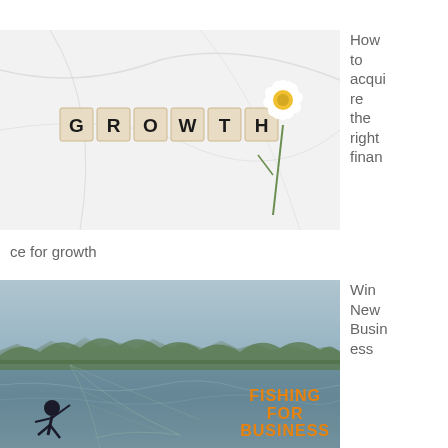[Figure (photo): Photo of scrabble tiles spelling GROWTH on a marble surface with a white daisy flower]
How to acquire the right finance for growth
[Figure (photo): Black and white photo of a person throwing a fishing net over water with trees in background, overlaid text says FISHING FOR BUSINESS in orange]
Win New Business